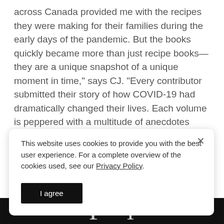across Canada provided me with the recipes they were making for their families during the early days of the pandemic. But the books quickly became more than just recipe books—they are a unique snapshot of a unique moment in time," says CJ. "Every contributor submitted their story of how COVID-19 had dramatically changed their lives. Each volume is peppered with a multitude of anecdotes about COVID, from crazy masks we wear to the wild hair we grew. These books are going to become cherished keepsakes of a challenging moment in our history"
This website uses cookies to provide you with the best user experience. For a complete overview of the cookies used, see our Privacy Policy.
I agree